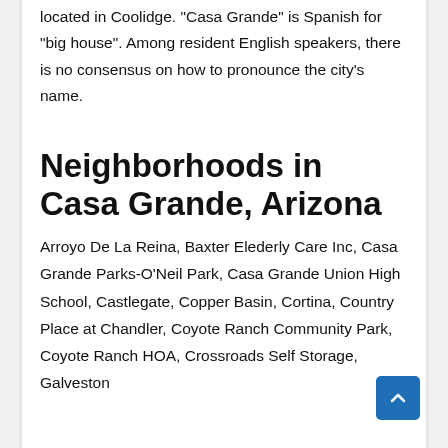located in Coolidge. "Casa Grande" is Spanish for "big house". Among resident English speakers, there is no consensus on how to pronounce the city's name.
Neighborhoods in Casa Grande, Arizona
Arroyo De La Reina, Baxter Elederly Care Inc, Casa Grande Parks-O'Neil Park, Casa Grande Union High School, Castlegate, Copper Basin, Cortina, Country Place at Chandler, Coyote Ranch Community Park, Coyote Ranch HOA, Crossroads Self Storage, Galveston